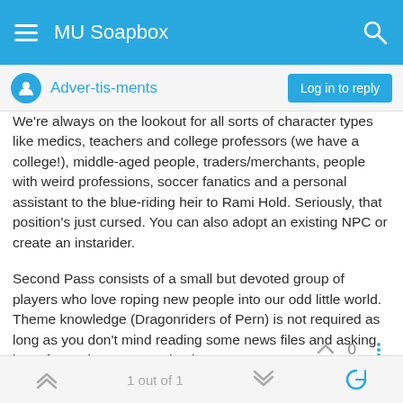MU Soapbox
Adver-tis-ments
We're always on the lookout for all sorts of character types like medics, teachers and college professors (we have a college!), middle-aged people, traders/merchants, people with weird professions, soccer fanatics and a personal assistant to the blue-riding heir to Rami Hold. Seriously, that position's just cursed. You can also adopt an existing NPC or create an instarider.
Second Pass consists of a small but devoted group of players who love roping new people into our odd little world. Theme knowledge (Dragonriders of Pern) is not required as long as you don't mind reading some news files and asking lots of questions. Come check us out at http://www.2pmush.net/!
1 out of 1